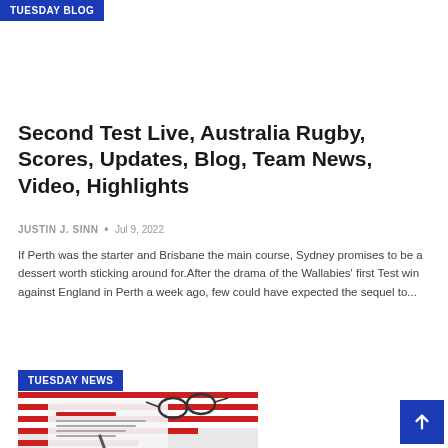TUESDAY BLOG
Second Test Live, Australia Rugby, Scores, Updates, Blog, Team News, Video, Highlights
JUSTIN J. SINN • Jul 9, 2022
If Perth was the starter and Brisbane the main course, Sydney promises to be a dessert worth sticking around for.After the drama of the Wallabies' first Test win against England in Perth a week ago, few could have expected the sequel to...
TUESDAY NEWS
[Figure (photo): Voter Registration Application form with American flag, glasses, and pen on top]